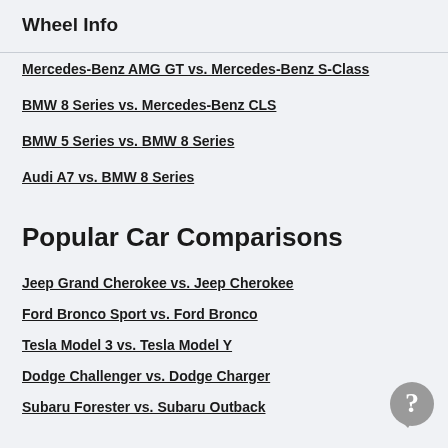Wheel Info
Mercedes-Benz AMG GT vs. Mercedes-Benz S-Class
BMW 8 Series vs. Mercedes-Benz CLS
BMW 5 Series vs. BMW 8 Series
Audi A7 vs. BMW 8 Series
Popular Car Comparisons
Jeep Grand Cherokee vs. Jeep Cherokee
Ford Bronco Sport vs. Ford Bronco
Tesla Model 3 vs. Tesla Model Y
Dodge Challenger vs. Dodge Charger
Subaru Forester vs. Subaru Outback
Honda CR-V vs. Toyota RAV4
Honda HR-V vs. Honda CR-V
Toyota RAV4 Hybrid vs. Toyota RAV4